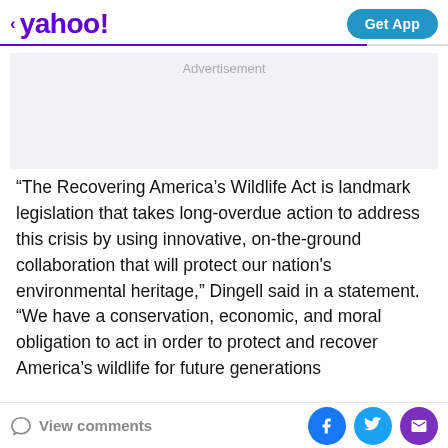< yahoo!  Get App
[Figure (other): Advertisement placeholder box]
“The Recovering America’s Wildlife Act is landmark legislation that takes long-overdue action to address this crisis by using innovative, on-the-ground collaboration that will protect our nation's environmental heritage,” Dingell said in a statement. “We have a conservation, economic, and moral obligation to act in order to protect and recover America’s wildlife for future generations.
View comments